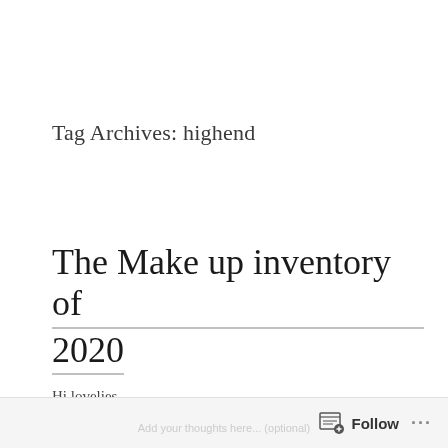Tag Archives: highend
The Make up inventory of 2020
Hi lovelies,
Follow ...